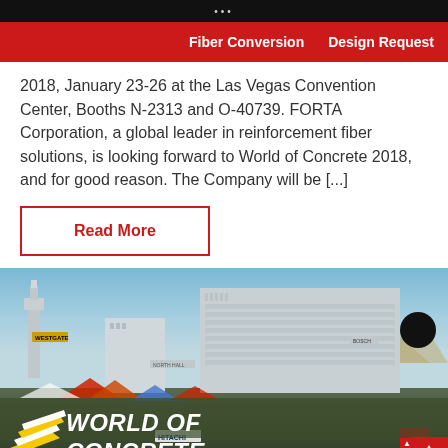Fiber Conversion   Design Request
2018, January 23-26 at the Las Vegas Convention Center, Booths N-2313 and O-40739. FORTA Corporation, a global leader in reinforcement fiber solutions, is looking forward to World of Concrete 2018, and for good reason. The Company will be [...]
Read More
[Figure (photo): Photo of the Las Vegas Convention Center exterior with the World of Concrete logo overlay. Shows buildings including the Westgate hotel sign, crowds, tents, and construction equipment in the foreground. The World of Concrete logo with stacked yellow/white panels and bold white text appears in the lower left.]